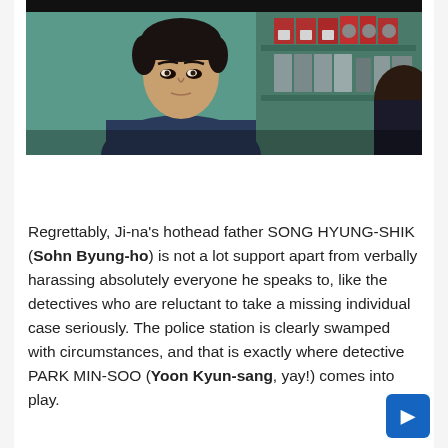[Figure (photo): A young Asian man with dark hair sitting in what appears to be an office or police station setting, with red binders/folders visible on shelves in the background. Another person is partially visible on the right side of the frame.]
Regrettably, Ji-na's hothead father SONG HYUNG-SHIK (Sohn Byung-ho) is not a lot support apart from verbally harassing absolutely everyone he speaks to, like the detectives who are reluctant to take a missing individual case seriously. The police station is clearly swamped with circumstances, and that is exactly where detective PARK MIN-SOO (Yoon Kyun-sang, yay!) comes into play.